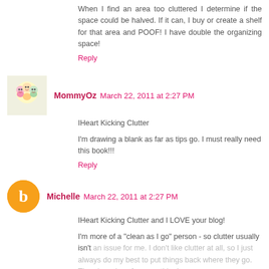When I find an area too cluttered I determine if the space could be halved. If it can, I buy or create a shelf for that area and POOF! I have double the organizing space!
Reply
MommyOz  March 22, 2011 at 2:27 PM
IHeart Kicking Clutter
I'm drawing a blank as far as tips go. I must really need this book!!!
Reply
Michelle  March 22, 2011 at 2:27 PM
IHeart Kicking Clutter and I LOVE your blog!
I'm more of a "clean as I go" person - so clutter usually isn't an issue for me. I don't like clutter at all, so I just always do my best to put things back where they go. There's a place for everything!